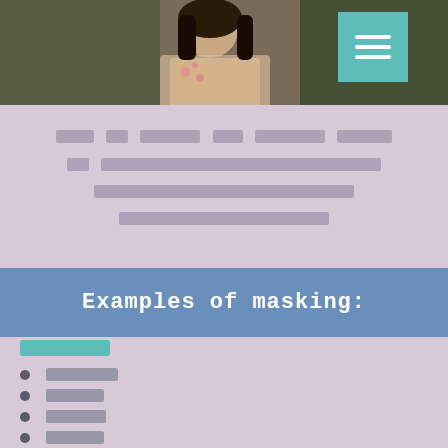[Figure (photo): Photo of a woman in a floral dress with dark hair, with a teal/green menu hamburger icon button overlaid in the top right area]
[Redacted text block - multiple lines of obscured/masked content]
Examples of masking:
[Redacted subheader]
[Redacted item 1]
[Redacted item 2]
[Redacted item 3]
[Redacted item 4]
[Redacted item 5]
[Redacted item 6 - partially visible]